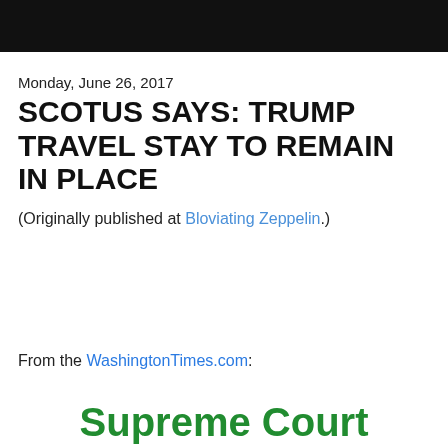Monday, June 26, 2017
SCOTUS SAYS: TRUMP TRAVEL STAY TO REMAIN IN PLACE
(Originally published at Bloviating Zeppelin.)
From the WashingtonTimes.com:
Supreme Court